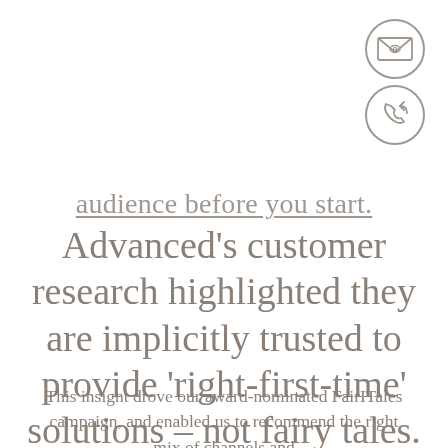[Figure (illustration): Two circular icons stacked vertically in the top-right corner: top icon is an envelope with an eye/diamond symbol, bottom icon is a phone with a curved arrow indicating incoming call. Both icons are drawn in a thin light gray line style.]
audience before you start.
Advanced’s customer research highlighted they are implicitly trusted to provide ‘right-first-time’ solutions – not fairy tales.
This insight drove our award-nominated FairITales campaign, and enabled us to recommend the right mix of channels and